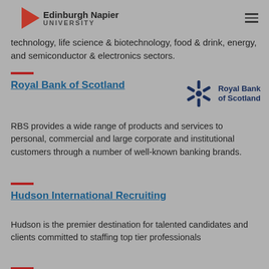Edinburgh Napier UNIVERSITY
technology, life science & biotechnology, food & drink, energy, and semiconductor & electronics sectors.
Royal Bank of Scotland
[Figure (logo): Royal Bank of Scotland logo with snowflake/asterisk symbol and text 'Royal Bank of Scotland']
RBS provides a wide range of products and services to personal, commercial and large corporate and institutional customers through a number of well-known banking brands.
Hudson International Recruiting
Hudson is the premier destination for talented candidates and clients committed to staffing top tier professionals